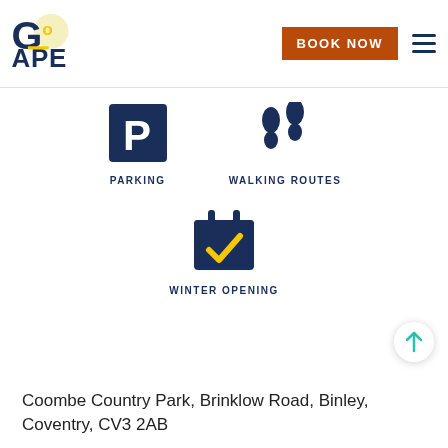[Figure (logo): Go Ape logo — stylized yellow and blue text with circular graphic]
[Figure (infographic): Navigation bar with orange BOOK NOW button and hamburger menu icon]
[Figure (infographic): Parking icon — dark blue square with white P letter]
PARKING
[Figure (infographic): Walking routes icon — dark blue footprints]
WALKING ROUTES
[Figure (infographic): Winter opening icon — dark blue calendar with checkmark]
WINTER OPENING
Coombe Country Park, Brinklow Road, Binley, Coventry, CV3 2AB